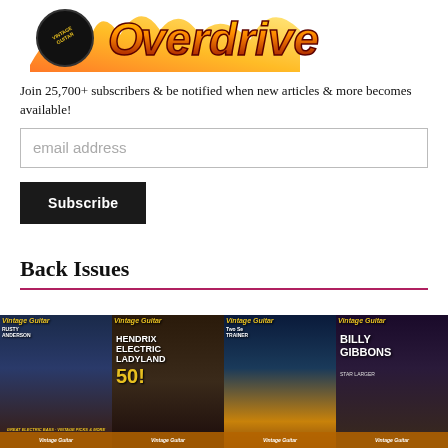[Figure (logo): Vintage Guitar Overdrive logo with flames and guitar pick graphic]
Join 25,700+ subscribers & be notified when new articles & more becomes available!
[Figure (other): Email address input field placeholder]
[Figure (other): Subscribe button (black background, white text)]
Back Issues
[Figure (photo): Grid of Vintage Guitar magazine back issue covers featuring various artists including Rusty Anderson, Hendrix Electric Ladyland 50!, Two Set Trainer, and Billy Gibbons]